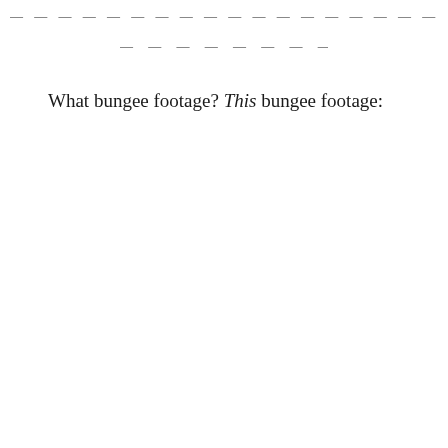— — — — — — — — — — — — — — — — — — — — — — — —
— — — — — — — — — — — —
What bungee footage? This bungee footage: